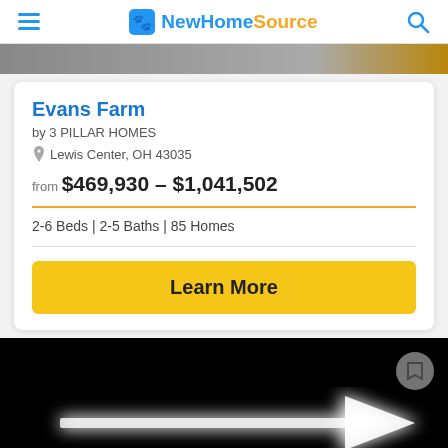NewHomeSource
[Figure (screenshot): Partial photo strip at top of listing card]
Evans Farm
by 3 PILLAR HOMES
Lewis Center, OH 43035
from $469,930 - $1,041,502
2-6 Beds | 2-5 Baths | 85 Homes
Learn More
[Figure (photo): Dark background with glowing white arrow pointing right, and a circular bookmark button in top right corner]